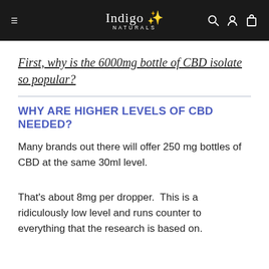Indigo Naturals
First, why is the 6000mg bottle of CBD isolate so popular?
WHY ARE HIGHER LEVELS OF CBD NEEDED?
Many brands out there will offer 250 mg bottles of CBD at the same 30ml level.
That's about 8mg per dropper.  This is a ridiculously low level and runs counter to everything that the research is based on.